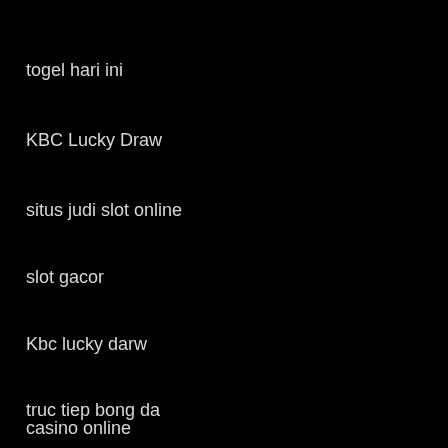togel hari ini
KBC Lucky Draw
situs judi slot online
slot gacor
Kbc lucky darw
truc tiep bong da
casino online